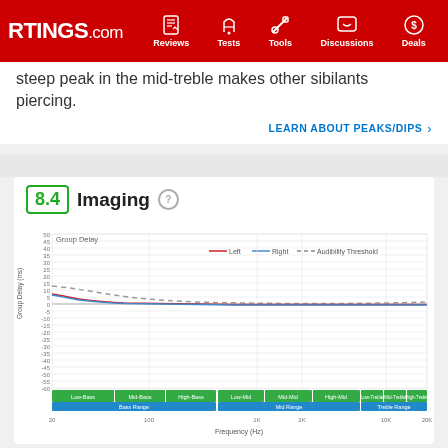RTINGS.com | Reviews | Tests | Tools | Discussions | Deals
steep peak in the mid-treble makes other sibilants piercing.
LEARN ABOUT PEAKS/DIPS ›
8.4 Imaging
[Figure (continuous-plot): Group Delay chart showing Left (red), Right (blue), and Audibility Threshold (dashed) lines across frequency range from 20Hz to 20kHz. Y-axis shows Group Delay in ms from -60 to 50. Frequency bands labeled at bottom: Low-Bass, Mid-Bass, High-Bass (Bass Range), Low-Mid, Mid-Mid, High-Mid (Mid Range), Low-Treble, Mid-Treble, High-Treble (Treble Range). Left and Right lines start around 7-8ms at 20Hz and decrease to near 0ms, tracking close together. Audibility Threshold dashed line starts around 13ms and decreases gradually.]